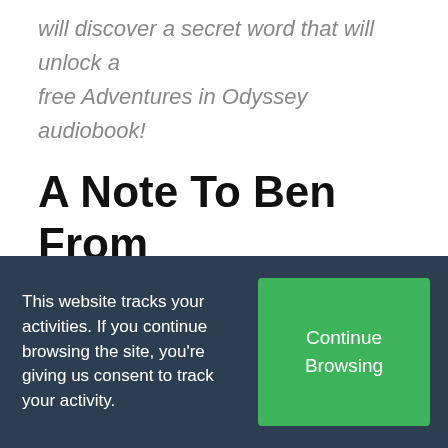will discover a secret word that will unlock a free Adventures in Odyssey audiobook!
A Note To Ben From Mom:
Dear Ben,
I am so proud of you! You wrote this blog
This website tracks your activities. If you continue browsing the site, you're giving us consent to track your activity.
Continue Browsing